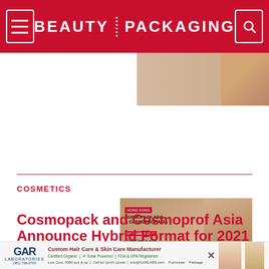BEAUTY PACKAGING
[Figure (photo): Partial view of a cosmetics/beauty product advertisement image on upper right]
[Figure (photo): Advertisement banner for Cosmopack/Cosmoprof Asia showing an Asian woman's face on a brown/tan background with event details and red badges]
COSMETICS
Cosmopack and Cosmoprof Asia Announce Hybrid Format for 2021
The two events will be held under one roof in Hong Kong, November 17-19.
[Figure (photo): GAR Laboratories advertisement banner: Custom Hair Care & Skin Care Manufacturer. Certified Organic, Solar Powered, FDA & EPA Registered. Low Cost, 5000 pcs & up. Call for Quick Quote. info@GARLABS.com. Formulate. Package.]